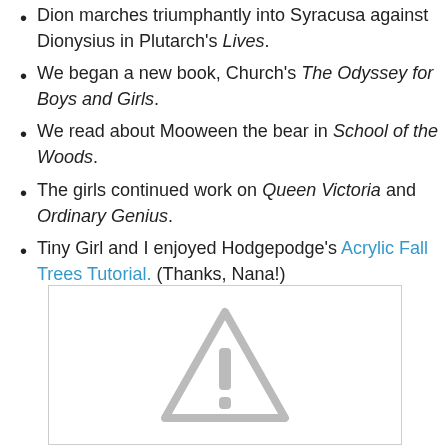Dion marches triumphantly into Syracusa against Dionysius in Plutarch's Lives.
We began a new book, Church's The Odyssey for Boys and Girls.
We read about Mooween the bear in School of the Woods.
The girls continued work on Queen Victoria and Ordinary Genius.
Tiny Girl and I enjoyed Hodgepodge's Acrylic Fall Trees Tutorial. (Thanks, Nana!)
[Figure (other): Placeholder image with a grey warning/alert triangle icon on white background]